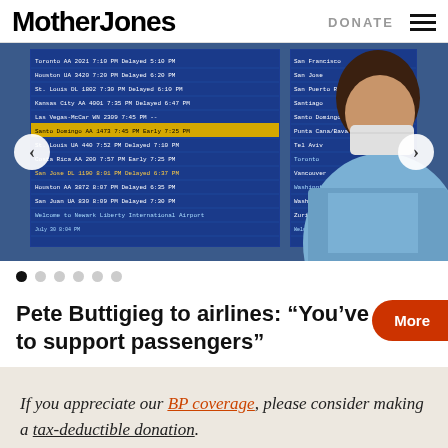Mother Jones | DONATE
[Figure (photo): Airport flight departures board showing flight information in white and yellow text on blue background; a person wearing a face mask is visible in the foreground on the right side]
● ○ ○ ○ ○ ○ (carousel navigation dots)
Pete Buttigieg to airlines: “You’ve got to support passengers”
More
If you appreciate our BP coverage, please consider making a tax-deductible donation.